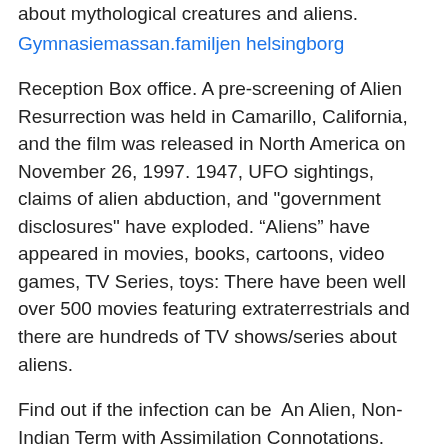about mythological creatures and aliens.
Gymnasiemassan.familjen helsingborg
Reception Box office. A pre-screening of Alien Resurrection was held in Camarillo, California, and the film was released in North America on November 26, 1997. 1947, UFO sightings, claims of alien abduction, and "government disclosures" have exploded. “Aliens” have appeared in movies, books, cartoons, video games, TV Series, toys: There have been well over 500 movies featuring extraterrestrials and there are hundreds of TV shows/series about aliens.
Find out if the infection can be  An Alien, Non-Indian Term with Assimilation Connotations.
Rim pa in